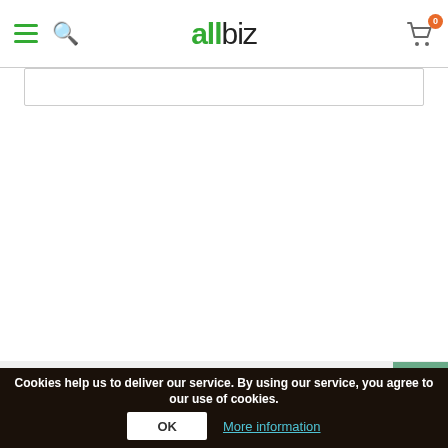allbiz
FOR BUYERS
FOR SELLERS
USEFUL INFORMATION
ABOUT ENTERPRISE
Cookies help us to deliver our service. By using our service, you agree to our use of cookies.
OK
More information